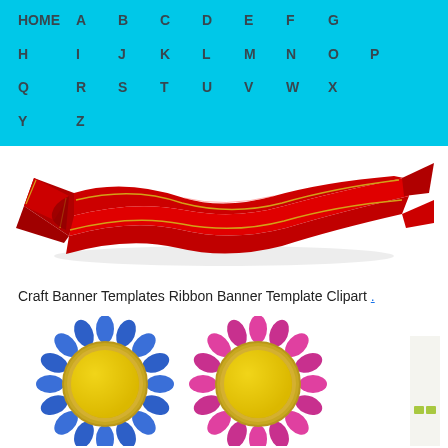HOME  A  B  C  D  E  F  G  H  I  J  K  L  M  N  O  P  Q  R  S  T  U  V  W  X  Y  Z
[Figure (illustration): Red ribbon banner clipart with gold trim, wavy decorative scroll shape]
Craft Banner Templates Ribbon Banner Template Clipart .
[Figure (illustration): Two rosette award badges: one with blue ruffled border and yellow center, one with pink/magenta ruffled border and yellow center; partially visible third item on right edge]